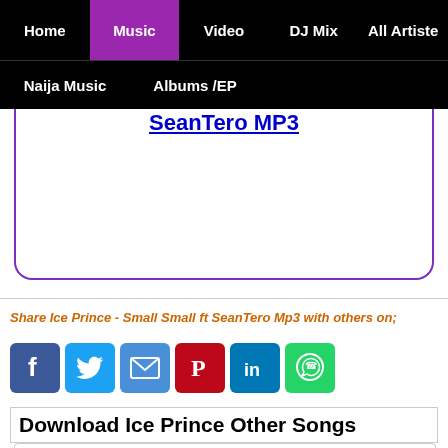Home | Music | Video | DJ Mix | All Artiste | Naija Music | Albums/EP
SeanTero MP3
Share Ice Prince - Small Small ft SeanTero Mp3 with others on;
[Figure (infographic): Social media share icons: Facebook, Twitter, Email, Pinterest, LinkedIn, WhatsApp]
Download Ice Prince Other Songs